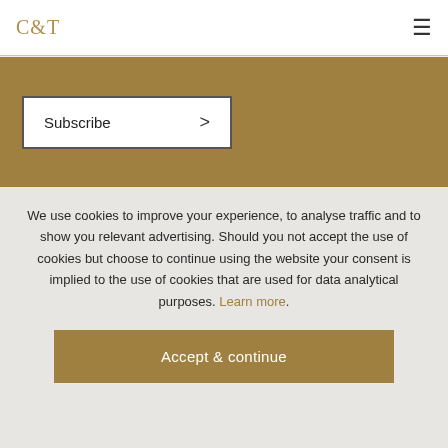C&T
Subscribe >
We use cookies to improve your experience, to analyse traffic and to show you relevant advertising. Should you not accept the use of cookies but choose to continue using the website your consent is implied to the use of cookies that are used for data analytical purposes. Learn more.
Accept & continue